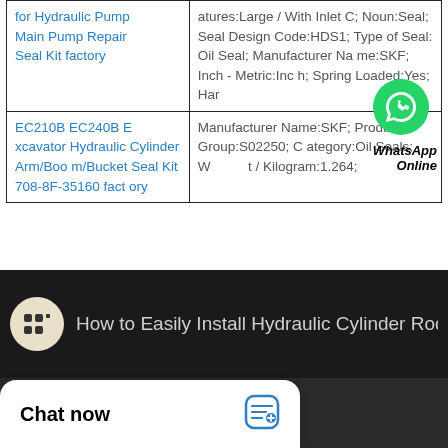| Product Name | Description |
| --- | --- |
| for Hydraulic Pump Main Pump Repair Seal Kit factory | atures:Large / With Inlet C; Noun:Seal; Seal Design Code:HDS1; Type of Seal: Oil Seal; Manufacturer Name:SKF; Inch - Metric:Inch; Spring Loaded:Yes; Har |
| EC210B EC240B Excavator Hydraulic Cylinder Arm/Boom/Bucket Seal Kit 708-8F-35160 factory | Manufacturer Name:SKF; Product Group:S02250; Category:Oil Seals; W / Kilogram:1.264; |
[Figure (screenshot): WhatsApp Online button overlaid on table cell]
[Figure (screenshot): YouTube video embed showing 'How to Easily Install Hydraulic Cylinder Rod Se...' with channel icon on dark background]
Chat now